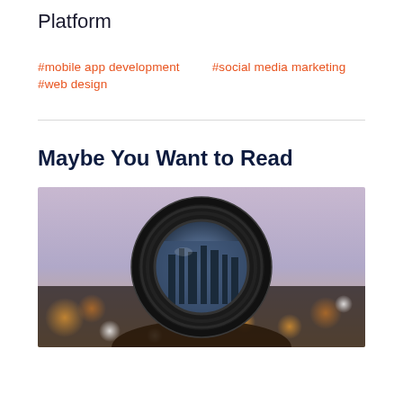Platform
#mobile app development   #social media marketing
#web design
Maybe You Want to Read
[Figure (photo): A person holding a camera lens up to their eye with a cityscape visible through the lens, taken at dusk with bokeh lights in the background.]